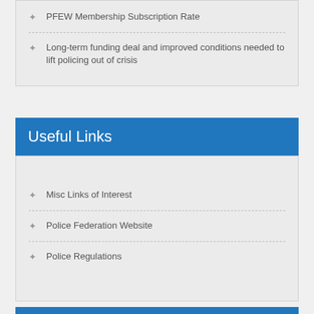PFEW Membership Subscription Rate
Long-term funding deal and improved conditions needed to lift policing out of crisis
Useful Links
Misc Links of Interest
Police Federation Website
Police Regulations